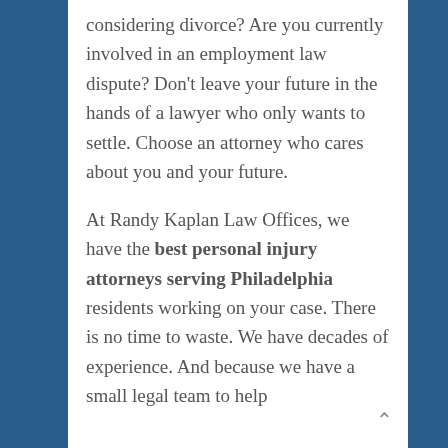considering divorce? Are you currently involved in an employment law dispute? Don't leave your future in the hands of a lawyer who only wants to settle. Choose an attorney who cares about you and your future.
At Randy Kaplan Law Offices, we have the best personal injury attorneys serving Philadelphia residents working on your case. There is no time to waste. We have decades of experience. And because we have a small legal team to help